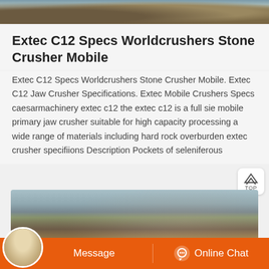[Figure (photo): Top partial image showing a stone quarry or mining site with rocks and earth]
Extec C12 Specs Worldcrushers Stone Crusher Mobile
Extec C12 Specs Worldcrushers Stone Crusher Mobile. Extec C12 Jaw Crusher Specifications. Extec Mobile Crushers Specs caesarmachinery extec c12 the extec c12 is a full sie mobile primary jaw crusher suitable for high capacity processing a wide range of materials including hard rock overburden extec crusher specifiions Description Pockets of seleniferous
[Figure (photo): Stone crusher / quarry site with mountains in background, cranes and conveyor machinery visible, large piles of earth and rock]